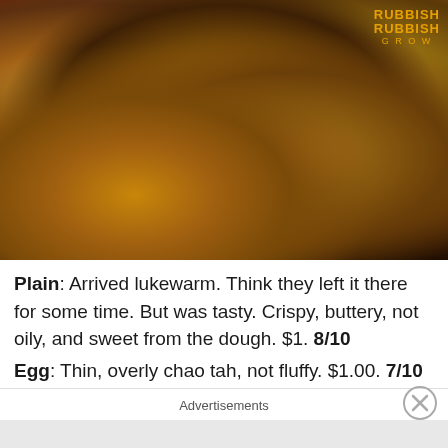[Figure (photo): A photograph of roti prata (flatbread) on a metal plate with curry sauces in bowls in the background. The flatbread is golden-brown and flaky, served on a silver plate. A food blog watermark reading RUBBISH EAT RUBBISH GROW is visible in the top right corner.]
Plain: Arrived lukewarm. Think they left it there for some time. But was tasty. Crispy, buttery, not oily, and sweet from the dough. $1. 8/10
Egg: Thin, overly chao tah, not fluffy. $1.00. 7/10
Advertisements